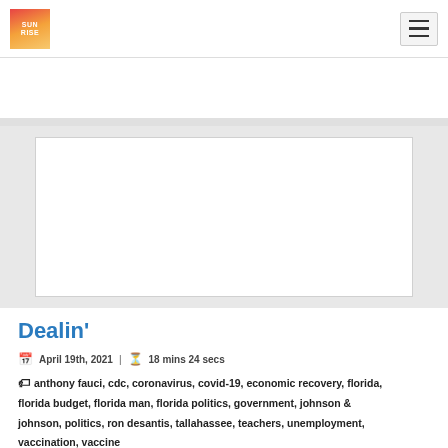SUNRISE
[Figure (other): Advertisement or image placeholder — large white rectangle on grey background]
Dealin'
April 19th, 2021  |  18 mins 24 secs
anthony fauci, cdc, coronavirus, covid-19, economic recovery, florida, florida budget, florida man, florida politics, government, johnson & johnson, politics, ron desantis, tallahassee, teachers, unemployment, vaccination, vaccine